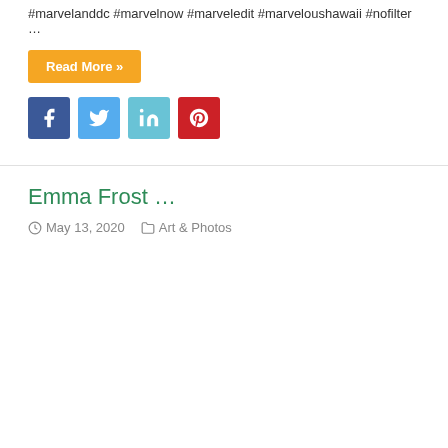#marvelanddc #marvelnow #marveledit #marveloushawaii #nofilter …
Read More »
[Figure (infographic): Social share buttons: Facebook (blue), Twitter (light blue), LinkedIn (teal), Pinterest (red)]
Emma Frost …
May 13, 2020   Art & Photos
[Figure (photo): Empty image placeholder area for Emma Frost article]
Emma Frost #marvelart #marvel #art #marvelcomics #marvelfanart